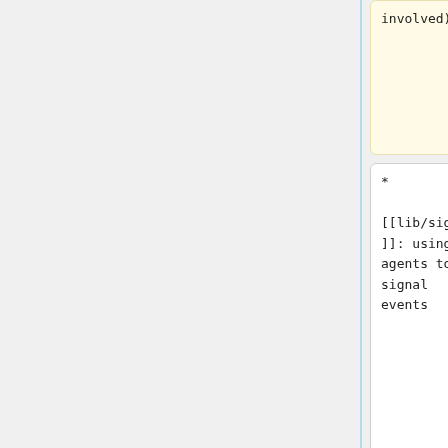involved)
core, yet
no threads
involved)
* [[lib/signal]]: using agents to signal events
* [[lib/signal]]: using agents to signal events
Line 31:
Line 29:
* [[lib/html]]: HTML input-output
* [[lib/html]]: HTML input-output
* [[lib/xml]]: an XML
* [[lib/xml]]: an XML